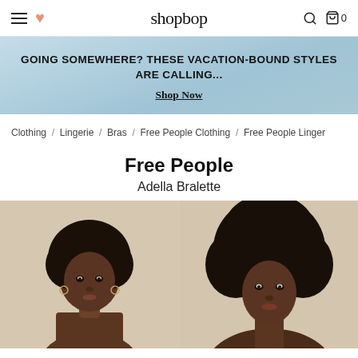shopbop
[Figure (photo): Shopbop website banner with light blue sky background, text: GOING SOMEWHERE? THESE VACATION-BOUND STYLES ARE CALLING... Shop Now]
Clothing / Lingerie / Bras / Free People Clothing / Free People Linger
Free People
Adella Bralette
[Figure (photo): Two product photos of a model wearing the Adella Bralette by Free People, shown side by side. Left image shows model facing forward, right image shows a close-up crop.]